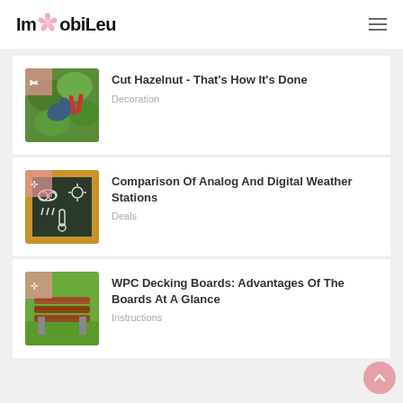ImObiLeu
[Figure (illustration): Thumbnail image of hazelnut cutting with garden gloves and pruning shears]
Cut Hazelnut - That's How It's Done
Decoration
[Figure (illustration): Thumbnail image of a chalkboard with weather station symbols]
Comparison Of Analog And Digital Weather Stations
Deals
[Figure (illustration): Thumbnail image of WPC decking boards stacked]
WPC Decking Boards: Advantages Of The Boards At A Glance
Instructions